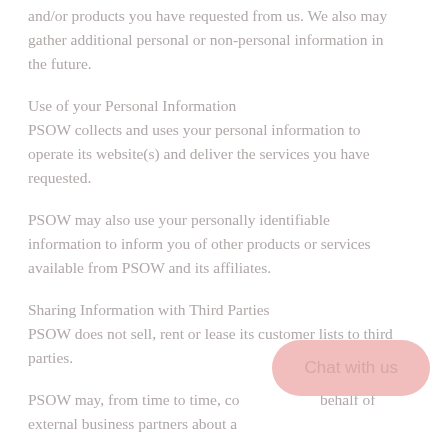and/or products you have requested from us. We also may gather additional personal or non-personal information in the future.
Use of your Personal Information
PSOW collects and uses your personal information to operate its website(s) and deliver the services you have requested.
PSOW may also use your personally identifiable information to inform you of other products or services available from PSOW and its affiliates.
Sharing Information with Third Parties
PSOW does not sell, rent or lease its customer lists to third parties.
PSOW may, from time to time, contact you on behalf of external business partners about a